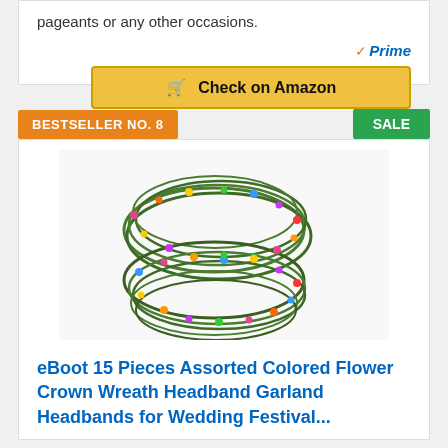pageants or any other occasions.
[Figure (logo): Amazon Prime badge with checkmark]
Check on Amazon
BESTSELLER NO. 8
SALE
[Figure (photo): eBoot 15 Pieces Assorted Colored Flower Crown Wreath Headband Garland Headbands stacked together]
eBoot 15 Pieces Assorted Colored Flower Crown Wreath Headband Garland Headbands for Wedding Festival...